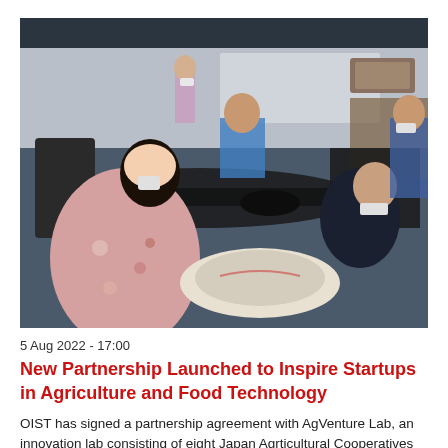[Figure (photo): People seated in a modern conference/classroom room, some wearing masks, with dark tables arranged in a U-shape. A woman in a floral blouse is visible in the foreground holding a bag.]
5 Aug 2022 - 17:00
New Partnership Launched to Inspire Startups in Agriculture and Food Technology
OIST has signed a partnership agreement with AgVenture Lab, an innovation lab consisting of eight Japan Agrticultural Cooperatives (JA) organizations across Japan. Through this partnership, OIST will...
Type: News Article
[Figure (photo): Partial view of a blue-toned image, likely a scientific or artistic photo, visible at the bottom of the page.]